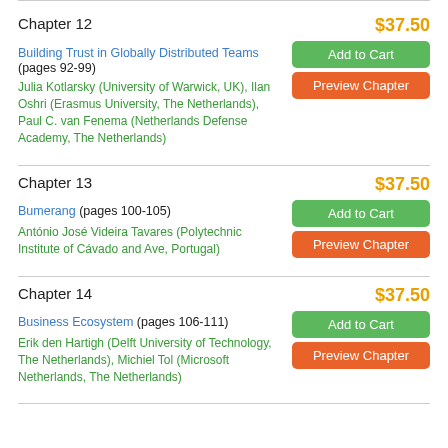Chapter 12
Building Trust in Globally Distributed Teams (pages 92-99)
Julia Kotlarsky (University of Warwick, UK), Ilan Oshri (Erasmus University, The Netherlands), Paul C. van Fenema (Netherlands Defense Academy, The Netherlands)
$37.50
Chapter 13
Bumerang (pages 100-105)
António José Videira Tavares (Polytechnic Institute of Cávado and Ave, Portugal)
$37.50
Chapter 14
Business Ecosystem (pages 106-111)
Erik den Hartigh (Delft University of Technology, The Netherlands), Michiel Tol (Microsoft Netherlands, The Netherlands)
$37.50